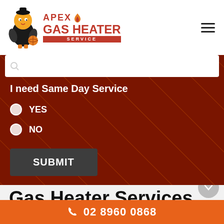[Figure (logo): Apex Gas Heater Service logo with mascot character, company name and flame icon]
I need Same Day Service
YES
NO
SUBMIT
Gas Heater Services
Baby
02 8960 0868